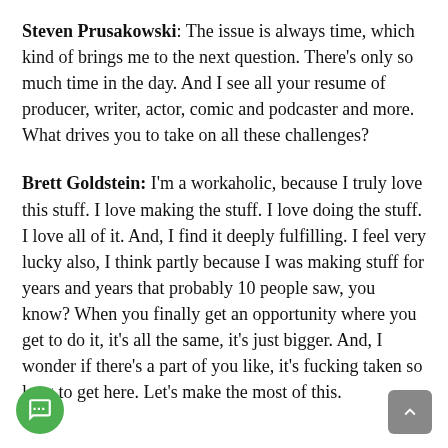Steven Prusakowski: The issue is always time, which kind of brings me to the next question. There's only so much time in the day. And I see all your resume of producer, writer, actor, comic and podcaster and more. What drives you to take on all these challenges?
Brett Goldstein: I'm a workaholic, because I truly love this stuff. I love making the stuff. I love doing the stuff. I love all of it. And, I find it deeply fulfilling. I feel very lucky also, I think partly because I was making stuff for years and years that probably 10 people saw, you know? When you finally get an opportunity where you get to do it, it's all the same, it's just bigger. And, I wonder if there's a part of you like, it's fucking taken so long to get here. Let's make the most of this.